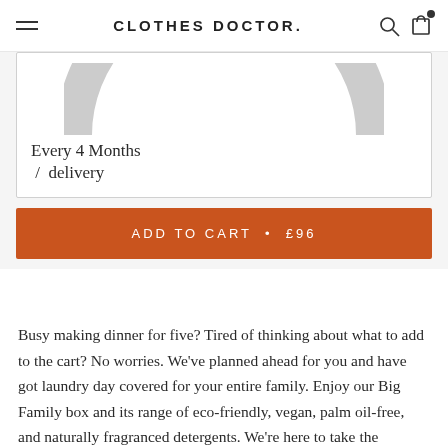CLOTHES DOCTOR.
[Figure (illustration): Partial circular arc/ring graphic in light grey, cropped at top, suggesting a subscription frequency selector dial]
Every 4 Months
/ delivery
ADD TO CART • £96
Busy making dinner for five? Tired of thinking about what to add to the cart? No worries. We've planned ahead for you and have got laundry day covered for your entire family. Enjoy our Big Family box and its range of eco-friendly, vegan, palm oil-free, and naturally fragranced detergents. We're here to take the pressure off, whilst bringing a little slice of pleasure